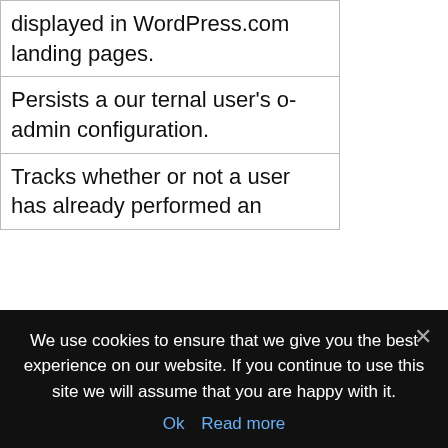| displayed in WordPress.com landing pages. |
| Persists a our ternal user's o-admin configuration. |
| Tracks whether or not a user has already performed an |
[Figure (illustration): Blue square accessibility widget with wheelchair icon]
We use cookies to ensure that we give you the best experience on our website. If you continue to use this site we will assume that you are happy with it.
Ok   Read more